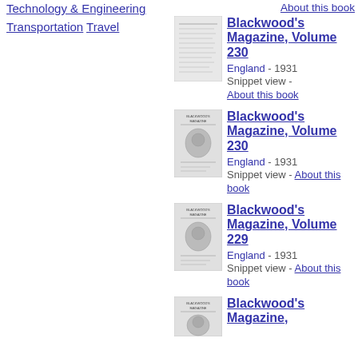Technology & Engineering
Transportation
Travel
About this book
[Figure (illustration): Book cover thumbnail for Blackwood's Magazine Volume 230 (table of contents page)]
Blackwood's Magazine, Volume 230
England - 1931
Snippet view -
About this book
[Figure (illustration): Book cover thumbnail for Blackwood's Magazine Volume 230 (portrait cover)]
Blackwood's Magazine, Volume 230
England - 1931
Snippet view -
About this book
[Figure (illustration): Book cover thumbnail for Blackwood's Magazine Volume 229 (portrait cover)]
Blackwood's Magazine, Volume 229
England - 1931
Snippet view -
About this book
[Figure (illustration): Book cover thumbnail for Blackwood's Magazine (partial, cut off)]
Blackwood's Magazine,